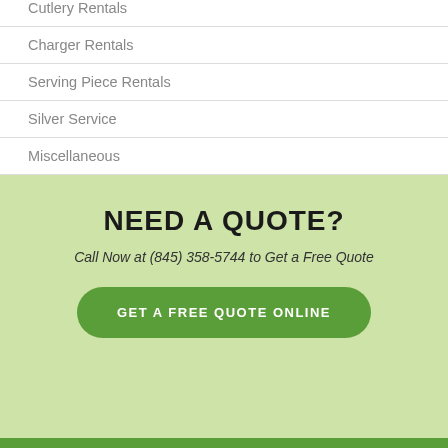Cutlery Rentals
Charger Rentals
Serving Piece Rentals
Silver Service
Miscellaneous
NEED A QUOTE?
Call Now at (845) 358-5744 to Get a Free Quote
GET A FREE QUOTE ONLINE